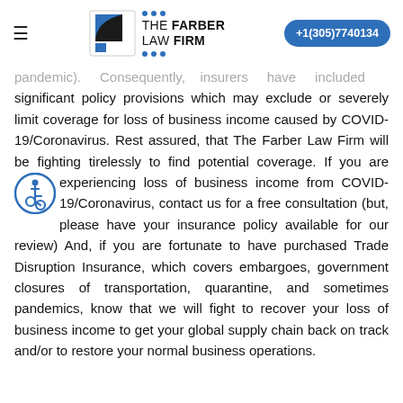THE FARBER LAW FIRM | +1(305)7740134
pandemic). Consequently, insurers have included significant policy provisions which may exclude or severely limit coverage for loss of business income caused by COVID-19/Coronavirus. Rest assured, that The Farber Law Firm will be fighting tirelessly to find potential coverage. If you are experiencing loss of business income from COVID-19/Coronavirus, contact us for a free consultation (but, please have your insurance policy available for our review) And, if you are fortunate to have purchased Trade Disruption Insurance, which covers embargoes, government closures of transportation, quarantine, and sometimes pandemics, know that we will fight to recover your loss of business income to get your global supply chain back on track and/or to restore your normal business operations.